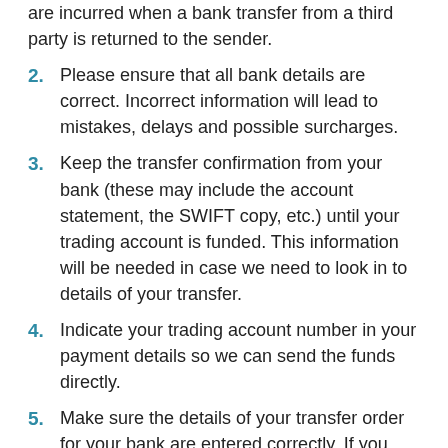are incurred when a bank transfer from a third party is returned to the sender.
2.  Please ensure that all bank details are correct. Incorrect information will lead to mistakes, delays and possible surcharges.
3.  Keep the transfer confirmation from your bank (these may include the account statement, the SWIFT copy, etc.) until your trading account is funded. This information will be needed in case we need to look in to details of your transfer.
4.  Indicate your trading account number in your payment details so we can send the funds directly.
5.  Make sure the details of your transfer order for your bank are entered correctly. If you miss any details, or input incorrect information, you could delay the funds from being transferred.
6.  You can choose what currency you make your transfers in. We will automatically convert funds using